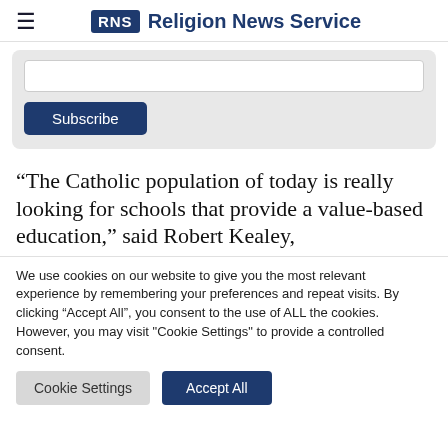RNS Religion News Service
[Figure (screenshot): Email subscribe input box and Subscribe button on a light grey background panel]
“The Catholic population of today is really looking for schools that provide a value-based education,” said Robert Kealey,
We use cookies on our website to give you the most relevant experience by remembering your preferences and repeat visits. By clicking “Accept All”, you consent to the use of ALL the cookies. However, you may visit "Cookie Settings" to provide a controlled consent.
Cookie Settings | Accept All